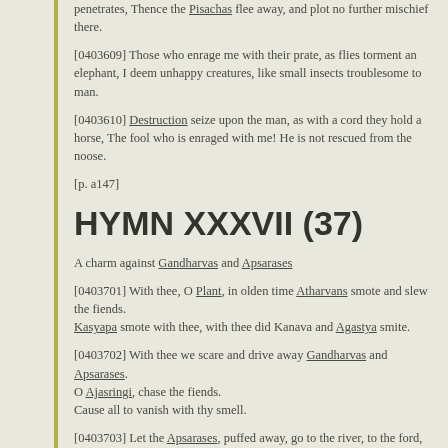penetrates, Thence the Pisachas flee away, and plot no further mischief there.
[0403609] Those who enrage me with their prate, as flies torment an elephant, I deem unhappy creatures, like small insects troublesome to man.
[0403610] Destruction seize upon the man, as with a cord they hold a horse, The fool who is enraged with me! He is not rescued from the noose.
[p. a147]
HYMN XXXVII (37)
A charm against Gandharvas and Apsarases
[0403701] With thee, O Plant, in olden time Atharvans smote and slew the fiends.
Kasyapa smote with thee, with thee did Kanava and Agastya smite.
[0403702] With thee we scare and drive away Gandharvas and Apsarases.
O Ajasringi, chase the fiends.
Cause all to vanish with thy smell.
[0403703] Let the Apsarases, puffed away, go to the river, to the ford, Guggulu, Pila, Naladi, Aukshagandhi, Pramandini.